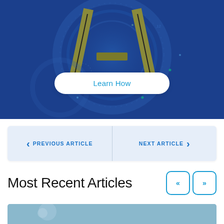[Figure (illustration): Dark blue circular sci-fi portal/stargate illustration with a gold/olive-colored lambda or compass symbol in the center, against a deep blue background with glowing particles and circular rings]
Learn How
< PREVIOUS ARTICLE    NEXT ARTICLE >
Most Recent Articles
[Figure (photo): Partial view of a photo with light blue sky tones, partially visible at the bottom of the page]